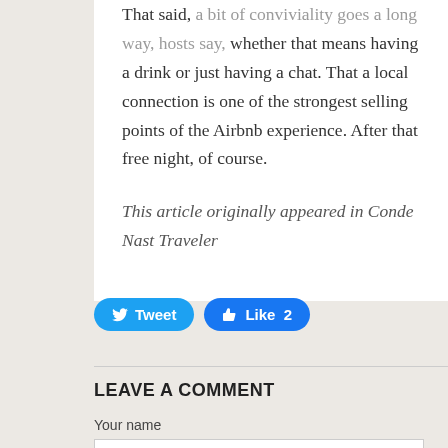That said, a bit of conviviality goes a long way, hosts say, whether that means having a drink or just having a chat. That a local connection is one of the strongest selling points of the Airbnb experience. After that free night, of course.
This article originally appeared in Conde Nast Traveler
[Figure (other): Social sharing buttons: Tweet (Twitter) and Like 2 (Facebook)]
LEAVE A COMMENT
Your name